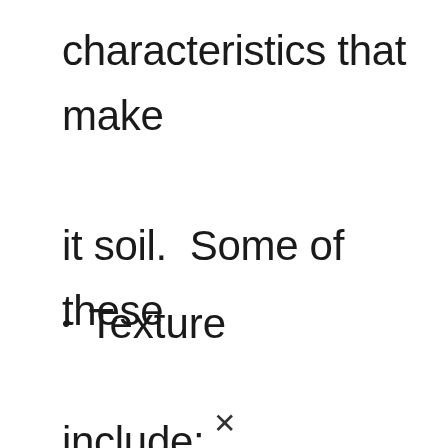characteristics that make it soil.  Some of these include:
Texture